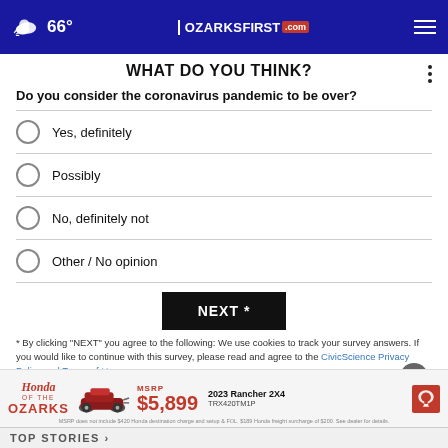66° | OZARKSFIRST.com
WHAT DO YOU THINK?
Do you consider the coronavirus pandemic to be over?
Yes, definitely
Possibly
No, definitely not
Other / No opinion
NEXT *
* By clicking "NEXT" you agree to the following: We use cookies to track your survey answers. If you would like to continue with this survey, please read and agree to the CivicScience Privacy Policy and Terms of Use
[Figure (advertisement): Honda of the Ozarks advertisement showing ATV, MSRP $5,899, 2023 Rancher 2X4 TRX420TM1P with Honda logo]
TOP STORIES >